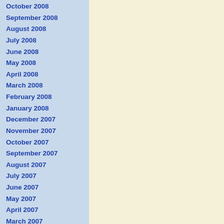October 2008
September 2008
August 2008
July 2008
June 2008
May 2008
April 2008
March 2008
February 2008
January 2008
December 2007
November 2007
October 2007
September 2007
August 2007
July 2007
June 2007
May 2007
April 2007
March 2007
February 2007
January 2007
December 2006
November 2006
October 2006
September 2006